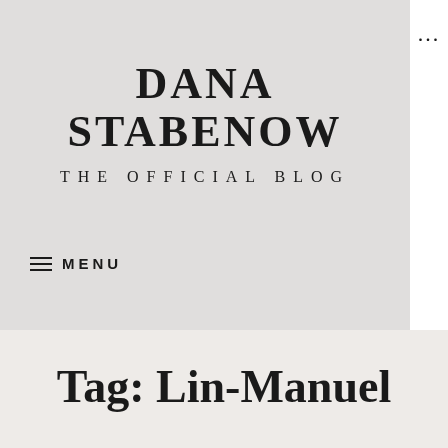DANA STABENOW
THE OFFICIAL BLOG
≡ MENU
Tag: Lin-Manuel